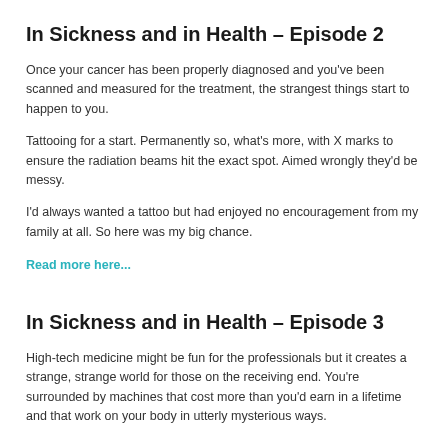In Sickness and in Health – Episode 2
Once your cancer has been properly diagnosed and you've been scanned and measured for the treatment, the strangest things start to happen to you.
Tattooing for a start. Permanently so, what's more, with X marks to ensure the radiation beams hit the exact spot. Aimed wrongly they'd be messy.
I'd always wanted a tattoo but had enjoyed no encouragement from my family at all. So here was my big chance.
Read more here...
In Sickness and in Health – Episode 3
High-tech medicine might be fun for the professionals but it creates a strange, strange world for those on the receiving end. You're surrounded by machines that cost more than you'd earn in a lifetime and that work on your body in utterly mysterious ways.